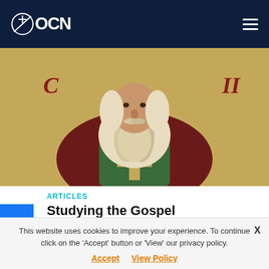OCN
[Figure (illustration): Orthodox religious icon painting showing a bearded saint figure in robes with gold background and Cyrillic letters]
ARTICLES
Studying the Gospel
Saint Ignatij Brianchaninoff   When you study the Gospel, don't look for pleasure, don't look for excitement, don't look for brilliant thoughts. Seek to find the infallible holy truth. Don't be satisfied with studying the Read more...
This website uses cookies to improve your experience. To continue click on the 'Accept' button or 'View' our privacy policy. Accept  View Policy